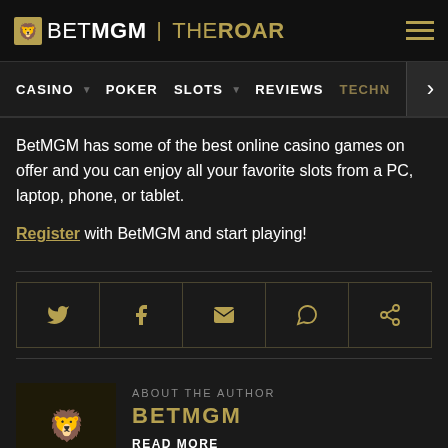BETMGM | THEROAR
CASINO  POKER  SLOTS  REVIEWS  TECHN
BetMGM has some of the best online casino games on offer and you can enjoy all your favorite slots from a PC, laptop, phone, or tablet.
Register with BetMGM and start playing!
[Figure (infographic): Social sharing icons row: Twitter, Facebook, Email, WhatsApp, Share link — gold icons on dark background with gold border]
ABOUT THE AUTHOR
[Figure (logo): BetMGM logo — gold lion icon with BETMGM text on dark background]
BETMGM
READ MORE